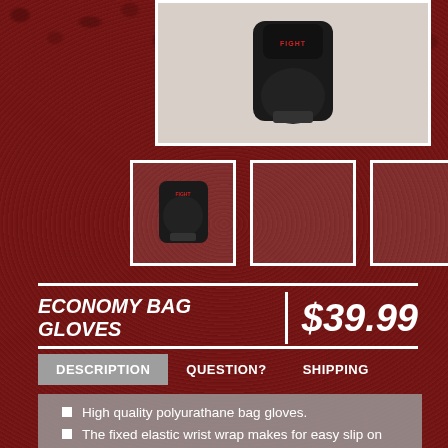[Figure (photo): Main product image of black boxing bag gloves on light grey background]
[Figure (photo): Thumbnail image of black boxing glove]
[Figure (photo): Empty thumbnail box 2]
[Figure (photo): Empty thumbnail box 3]
ECONOMY BAG GLOVES
$39.99
DESCRIPTION
QUESTION?
SHIPPING
High quality polyurathane bag gloves.
The fixed elastic wrist wrap makes for easy slip on and slip off gloves.
Open thumb construction for comfort.
Light weight.